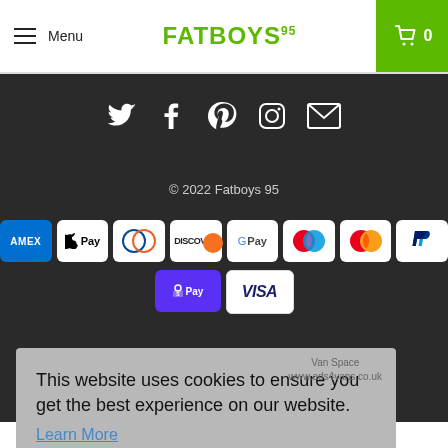Menu | FATBOYS 95 | 0
[Figure (infographic): Social media icons row: Twitter, Facebook, Pinterest, Instagram, Email on dark background]
© 2022 Fatboys 95
[Figure (infographic): Payment method badges: AMEX, Apple Pay, Diners Club, Discover, Google Pay, Maestro, Mastercard, PayPal, Shop Pay, Visa]
This website uses cookies to ensure you get the best experience on our website.
Learn More
Got it!